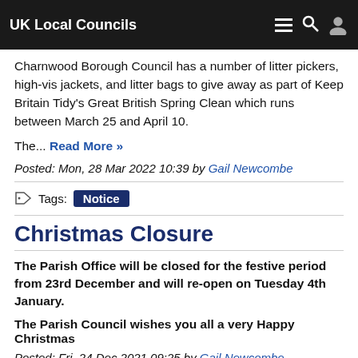UK Local Councils
Charnwood Borough Council has a number of litter pickers, high-vis jackets, and litter bags to give away as part of Keep Britain Tidy's Great British Spring Clean which runs between March 25 and April 10.
The... Read More »
Posted: Mon, 28 Mar 2022 10:39 by Gail Newcombe
Tags: Notice
Christmas Closure
The Parish Office will be closed for the festive period from 23rd December and will re-open on Tuesday 4th January.
The Parish Council wishes you all a very Happy Christmas
Posted: Fri, 24 Dec 2021 09:25 by Gail Newcombe